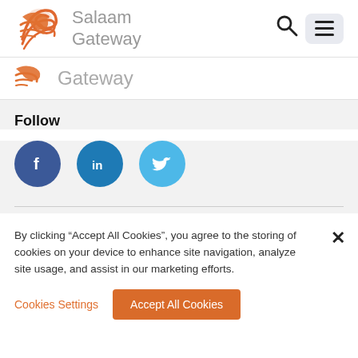[Figure (logo): Salaam Gateway logo with orange wave/bird icon and grey text 'Salaam Gateway']
[Figure (logo): Partial Salaam Gateway logo showing orange wave icon and grey text 'Gateway']
Follow
[Figure (infographic): Three social media icons: Facebook (dark blue circle with f), LinkedIn (teal circle with in), Twitter (light blue circle with bird)]
By clicking "Accept All Cookies", you agree to the storing of cookies on your device to enhance site navigation, analyze site usage, and assist in our marketing efforts.
Cookies Settings    Accept All Cookies